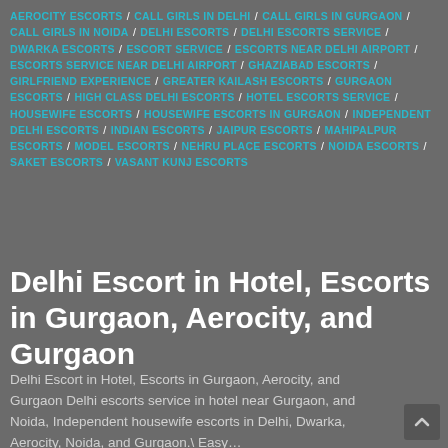AEROCITY ESCORTS / CALL GIRLS IN DELHI / CALL GIRLS IN GURGAON / CALL GIRLS IN NOIDA / DELHI ESCORTS / DELHI ESCORTS SERVICE / DWARKA ESCORTS / ESCORT SERVICE / ESCORTS NEAR DELHI AIRPORT / ESCORTS SERVICE NEAR DELHI AIRPORT / GHAZIABAD ESCORTS / GIRLFRIEND EXPERIENCE / GREATER KAILASH ESCORTS / GURGAON ESCORTS / HIGH CLASS DELHI ESCORTS / HOTEL ESCORTS SERVICE / HOUSEWIFE ESCORTS / HOUSEWIFE ESCORTS IN GURGAON / INDEPENDENT DELHI ESCORTS / INDIAN ESCORTS / JAIPUR ESCORTS / MAHIPALPUR ESCORTS / MODEL ESCORTS / NEHRU PLACE ESCORTS / NOIDA ESCORTS / SAKET ESCORTS / VASANT KUNJ ESCORTS
Delhi Escort in Hotel, Escorts in Gurgaon, Aerocity, and Gurgaon
Delhi Escort in Hotel, Escorts in Gurgaon, Aerocity, and Gurgaon Delhi escorts service in hotel near Gurgaon, and Noida, Independent housewife escorts in Delhi, Dwarka, Aerocity, Noida, and Gurgaon.\ Easy…